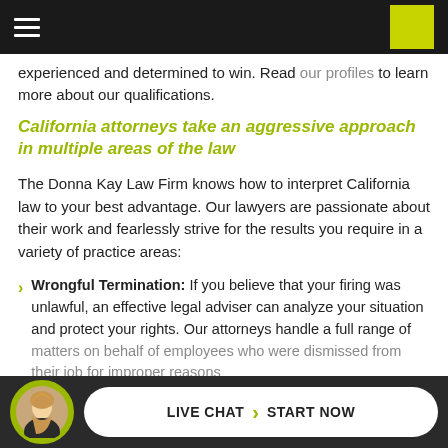[Navigation bar with hamburger menu and yellow square logo]
experienced and determined to win. Read our profiles to learn more about our qualifications.
California attorneys take an aggressive approach in multiple areas of the law
The Donna Kay Law Firm knows how to interpret California law to your best advantage. Our lawyers are passionate about their work and fearlessly strive for the results you require in a variety of practice areas:
Wrongful Termination: If you believe that your firing was unlawful, an effective legal adviser can analyze your situation and protect your rights. Our attorneys handle a full range of matters on behalf of employees who were dismissed from their job for improper reasons
Discrimination: [they]
LIVE CHAT › START NOW